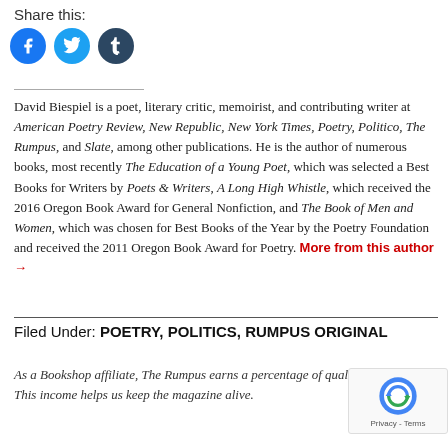Share this:
[Figure (other): Social sharing icons: Facebook (blue circle), Twitter (light blue circle), Tumblr (dark blue circle)]
David Biespiel is a poet, literary critic, memoirist, and contributing writer at American Poetry Review, New Republic, New York Times, Poetry, Politico, The Rumpus, and Slate, among other publications. He is the author of numerous books, most recently The Education of a Young Poet, which was selected a Best Books for Writers by Poets & Writers, A Long High Whistle, which received the 2016 Oregon Book Award for General Nonfiction, and The Book of Men and Women, which was chosen for Best Books of the Year by the Poetry Foundation and received the 2011 Oregon Book Award for Poetry. More from this author →
Filed Under: POETRY, POLITICS, RUMPUS ORIGINAL
As a Bookshop affiliate, The Rumpus earns a percentage of qualifying purchases. This income helps us keep the magazine alive.